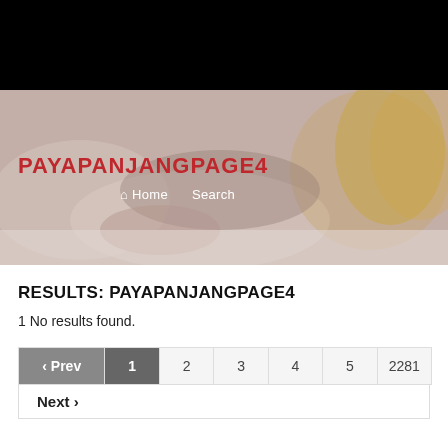[Figure (photo): Black top bar followed by a hero image showing hands working on a surface, with a person in a yellow top visible. The image has a light pinkish-beige tone overlay.]
PAYAPANJANGPAGE4
Home   Search
RESULTS: PAYAPANJANGPAGE4
1 No results found.
| ‹ Prev | 1 | 2 | 3 | 4 | 5 | 2281 |
| --- | --- | --- | --- | --- | --- | --- |
Next ›